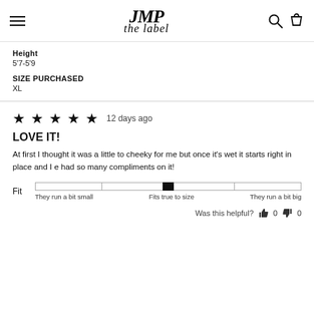JMP the label
Height
5'7-5'9
SIZE PURCHASED
XL
★★★★★ 12 days ago
LOVE IT!
At first I thought it was a little to cheeky for me but once it's wet it starts right in place and I e had so many compliments on it!
Fit  They run a bit small  Fits true to size  They run a bit big
Was this helpful? 0 0